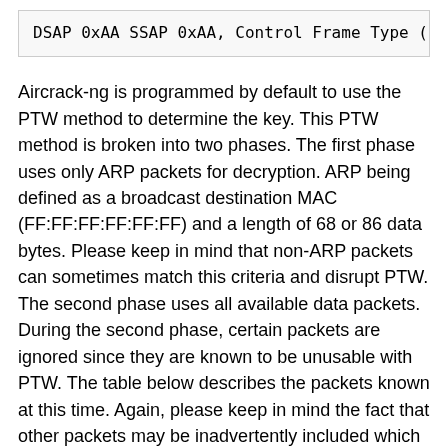[Figure (screenshot): Code box showing partial text: DSAP 0xAA SSAP 0xAA, Control Frame Type (truncated)]
Aircrack-ng is programmed by default to use the PTW method to determine the key. This PTW method is broken into two phases. The first phase uses only ARP packets for decryption. ARP being defined as a broadcast destination MAC (FF:FF:FF:FF:FF:FF) and a length of 68 or 86 data bytes. Please keep in mind that non-ARP packets can sometimes match this criteria and disrupt PTW. The second phase uses all available data packets. During the second phase, certain packets are ignored since they are known to be unusable with PTW. The table below describes the packets known at this time. Again, please keep in mind the fact that other packets may be inadvertently included which disrupt the PTW calculations.
The bottom line is that the PTW method normally works well but bad packets can sometimes cause it to fail. If this is the case then you need to gather a much larger number